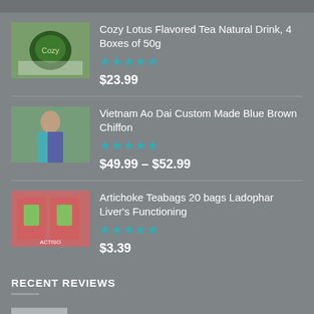Cozy Lotus Flavored Tea Natural Drink, 4 Boxes of 50g — 4.5 stars — $23.99
Vietnam Ao Dai Custom Made Blue Brown Chiffon — 4.5 stars — $49.99 – $52.99
Artichoke Teabags 20 bags Ladophar Liver's Functioning — 4.5 stars — $3.39
RECENT REVIEWS
New VRohto Eye Drops Red Itchy Tired Eye...